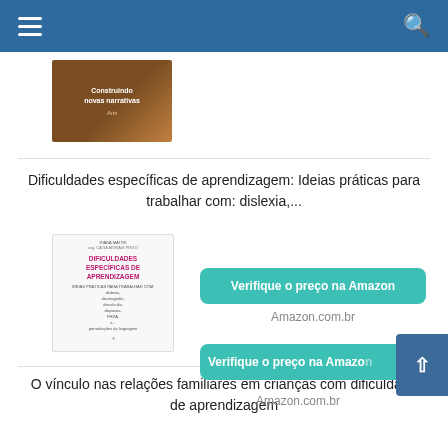[Figure (screenshot): Top navigation bar with hamburger menu and search icon on blue background]
[Figure (photo): Book thumbnail - brown cover with text 'Construindo novas narrativas Arts']
Dificuldades específicas de aprendizagem: Ideias práticas para trabalhar com: dislexia,...
[Figure (photo): Book cover - Dificuldades Específicas de Aprendizagem, white cover with pink title text]
Verifique o preço na Amazon
Amazon.com.br
O vínculo nas relações familiares em crianças com dificuldade de aprendizagem
Verifique o preço na Amazon
Amazon.com.br